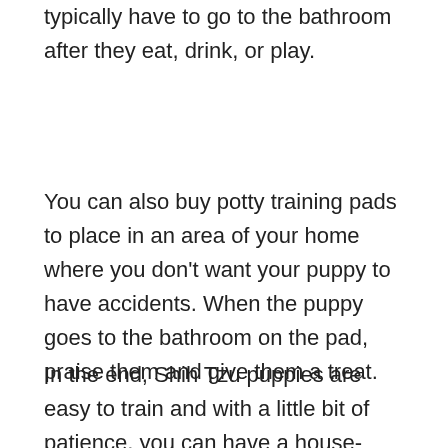typically have to go to the bathroom after they eat, drink, or play.
You can also buy potty training pads to place in an area of your home where you don't want your puppy to have accidents. When the puppy goes to the bathroom on the pad, praise them and give them a treat.
In the end, Shih Tzu puppies are easy to train and with a little bit of patience, you can have a house-trained puppy in no time.